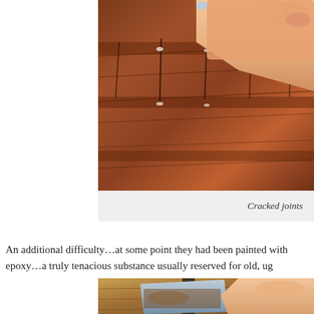[Figure (photo): Close-up photo of cracked wooden joints being examined by a hand, showing reddish-brown wood grain with visible cracks and white crystalline deposits at the joints.]
Cracked joints
An additional difficulty…at some point they had been painted with epoxy…a truly tenacious substance usually reserved for old, ug
[Figure (photo): Photo of a hand holding a scraper or chisel removing material from a surface, with brown/rusty residue visible on the tool blade against a background of wood and furniture.]